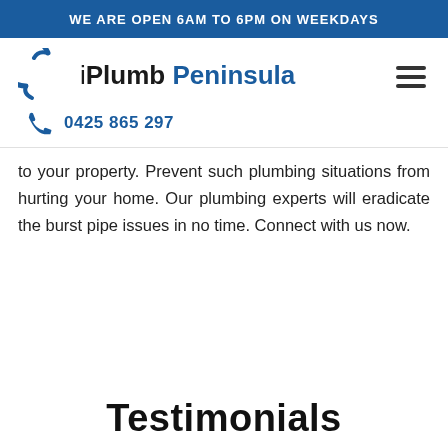WE ARE OPEN 6AM TO 6PM ON WEEKDAYS
[Figure (logo): iPlumb Peninsula logo with circular wrench icon on the left and blue bold text 'iPlumb Peninsula']
0425 865 297
to your property. Prevent such plumbing situations from hurting your home. Our plumbing experts will eradicate the burst pipe issues in no time. Connect with us now.
Testimonials